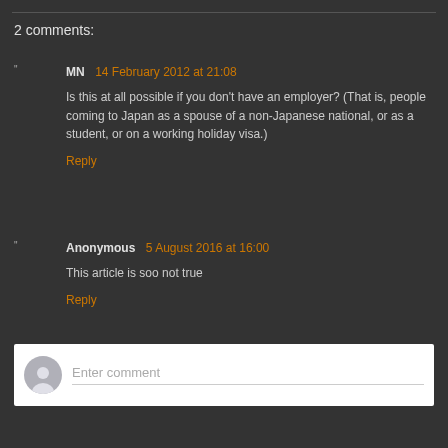2 comments:
MN  14 February 2012 at 21:08
Is this at all possible if you don't have an employer? (That is, people coming to Japan as a spouse of a non-Japanese national, or as a student, or on a working holiday visa.)
Reply
Anonymous  5 August 2016 at 16:00
This article is soo not true
Reply
Enter comment